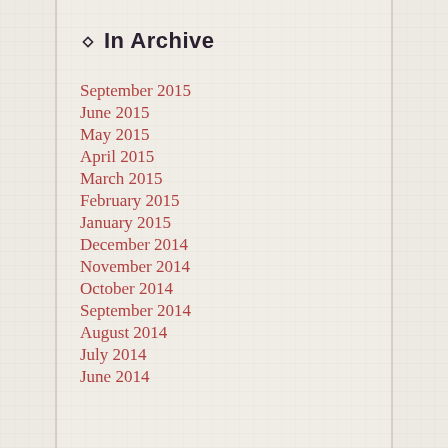❖  In Archive
September 2015
June 2015
May 2015
April 2015
March 2015
February 2015
January 2015
December 2014
November 2014
October 2014
September 2014
August 2014
July 2014
June 2014